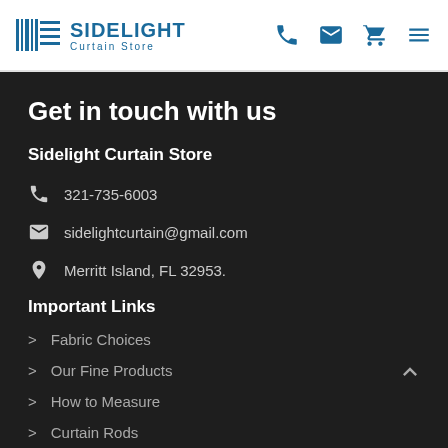Sidelight Curtain Store
Get in touch with us
Sidelight Curtain Store
321-735-6003
sidelightcurtain@gmail.com
Merritt Island, FL 32953.
Important Links
Fabric Choices
Our Fine Products
How to Measure
Curtain Rods